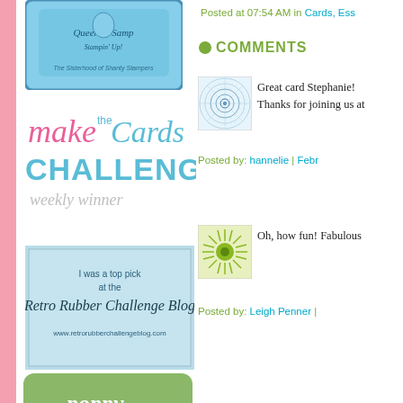[Figure (photo): Queen of Stampin Up badge with woman in blue shirt]
[Figure (logo): Make the Cards Challenge weekly winner badge with pink and teal text]
[Figure (logo): I was a top pick at the Retro Rubber Challenge Blog badge]
[Figure (logo): Poppy Challenge badge in green with poppy flower]
Posted at 07:54 AM in Cards, Ess
COMMENTS
[Figure (illustration): Avatar with spiral/mandala pattern on blue background]
Great card Stephanie! Thanks for joining us at
Posted by: hannelie | Febr
[Figure (illustration): Avatar with green sunburst/radiating pattern]
Oh, how fun! Fabulous
Posted by: Leigh Penner |